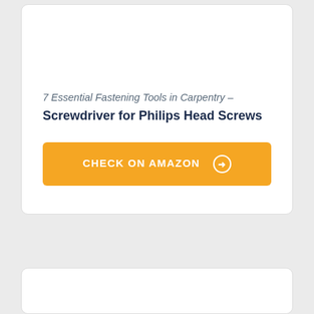7 Essential Fastening Tools in Carpentry –
Screwdriver for Philips Head Screws
CHECK ON AMAZON →